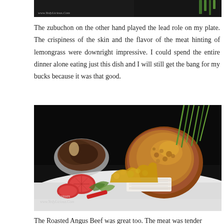[Figure (photo): Top portion of a food photo with dark background, watermark text 'www.YedyLicious.Com', and green garnish visible at top right edge.]
The zubuchon on the other hand played the lead role on my plate. The crispiness of the skin and the flavor of the meat hinting of lemongrass were downright impressive. I could spend the entire dinner alone eating just this dish and I will still get the bang for my bucks because it was that good.
[Figure (photo): Close-up food photograph of lechon/roasted pork with crispy golden-brown skin, white meat slices on a white plate garnished with tomatoes, green onions, and lettuce leaves. A second meat dish is visible in the background. Watermark: ©Yedy Calaguas www.YedyLicious.Com]
The Roasted Angus Beef was great too. The meat was tender